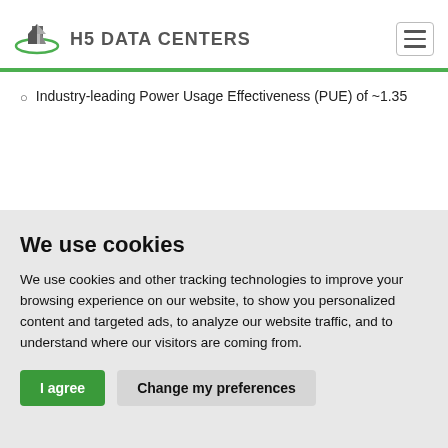H5 DATA CENTERS
Industry-leading Power Usage Effectiveness (PUE) of ~1.35
We use cookies
We use cookies and other tracking technologies to improve your browsing experience on our website, to show you personalized content and targeted ads, to analyze our website traffic, and to understand where our visitors are coming from.
I agree | Change my preferences